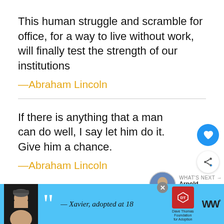This human struggle and scramble for office, for a way to live without work, will finally test the strength of our institutions
—Abraham Lincoln
If there is anything that a man can do well, I say let him do it. Give him a chance.
—Abraham Lincoln
We must not be enemies. Though passion may have strained, it must not break our bonds of aff...
[Figure (infographic): Advertisement banner: person with beanie hat, large quotation mark, text '— Xavier, adopted at 18', Dave Thomas Foundation for Adoption logo, WW logo, close button]